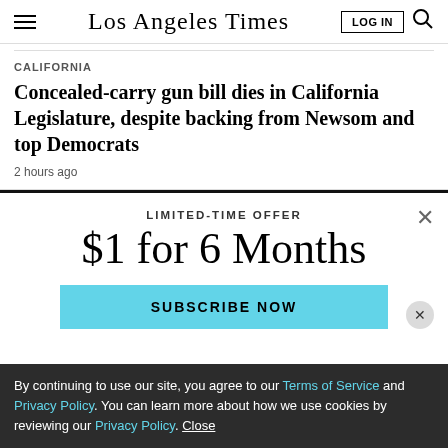Los Angeles Times
CALIFORNIA
Concealed-carry gun bill dies in California Legislature, despite backing from Newsom and top Democrats
2 hours ago
LIMITED-TIME OFFER
$1 for 6 Months
SUBSCRIBE NOW
By continuing to use our site, you agree to our Terms of Service and Privacy Policy. You can learn more about how we use cookies by reviewing our Privacy Policy. Close